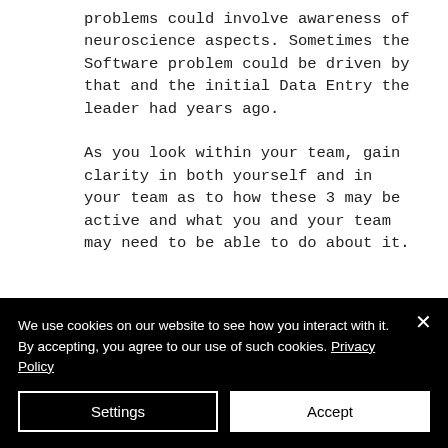problems could involve awareness of neuroscience aspects. Sometimes the Software problem could be driven by that and the initial Data Entry the leader had years ago.
As you look within your team, gain clarity in both yourself and in your team as to how these 3 may be active and what you and your team may need to be able to do about it.
Quick Stats for this last Section
We use cookies on our website to see how you interact with it. By accepting, you agree to our use of such cookies. Privacy Policy